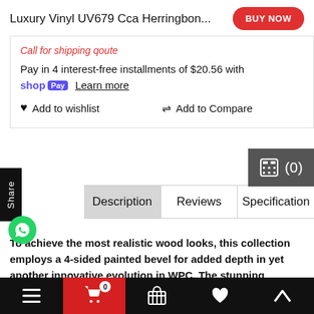Luxury Vinyl UV679 Cca Herringbon...
Call for shipping qoute
Pay in 4 interest-free installments of $20.56 with shopPay Learn more
Add to wishlist
Add to Compare
(0)
Share
Description
Reviews
Specification
To achieve the most realistic wood looks, this collection employs a 4-sided painted bevel for added depth in yet another innovative evolution in WPC. The stunning appearance is backed by the patented COREtec® technology featuring our